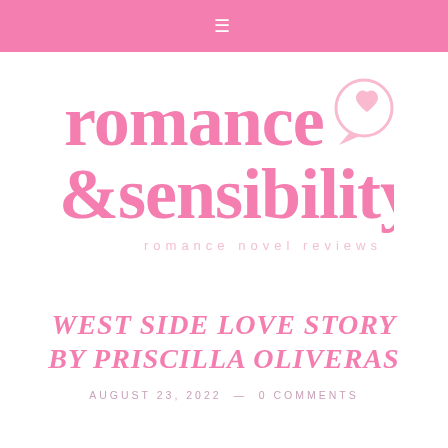≡
[Figure (logo): Romance & Sensibility logo — large bold pink serif text reading 'romance' on first line, '&sensibility' on second line, with a speech bubble containing a heart icon to the top right, and the subtitle 'romance novel reviews' in light pink spaced letters below]
WEST SIDE LOVE STORY BY PRISCILLA OLIVERAS
AUGUST 23, 2022 — 0 COMMENTS